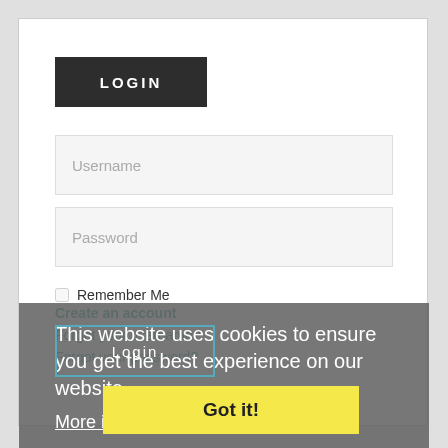LOGIN
Username
Password
Remember Me
This website uses cookies to ensure you get the best experience on our website.
More info
Create an account
Forgot your username?
Got it!
Forgot your password?